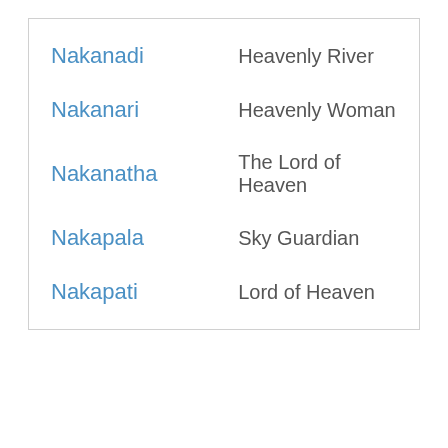| Name | Meaning |
| --- | --- |
| Nakanadi | Heavenly River |
| Nakanari | Heavenly Woman |
| Nakanatha | The Lord of Heaven |
| Nakapala | Sky Guardian |
| Nakapati | Lord of Heaven |
Around the Web
[Figure (photo): Close-up photo of elderly person's face/forehead showing wrinkles and aged skin tones in beige and brown]